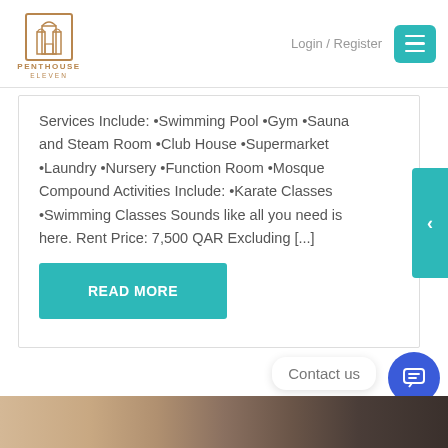PENTHOUSE ELEVEN — Login / Register
Services Include: •Swimming Pool •Gym •Sauna and Steam Room •Club House •Supermarket •Laundry •Nursery •Function Room •Mosque Compound Activities Include: •Karate Classes •Swimming Classes Sounds like all you need is here. Rent Price: 7,500 QAR Excluding [...]
READ MORE
Contact us